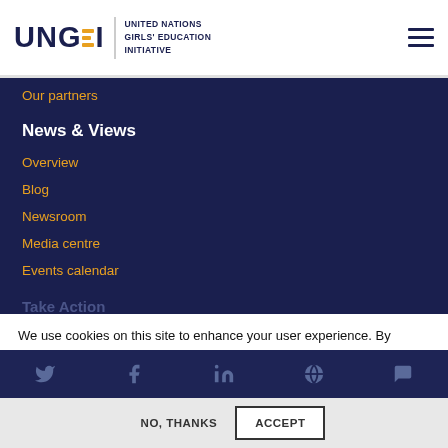[Figure (logo): UNGEI United Nations Girls' Education Initiative logo with orange horizontal lines and text]
Our partners
News & Views
Overview
Blog
Newsroom
Media centre
Events calendar
Take Action
We use cookies on this site to enhance your user experience. By clicking the Accept button, you agree to us doing so.
More info
NO, THANKS
ACCEPT